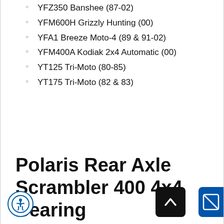YFZ350 Banshee (87-02)
YFM600H Grizzly Hunting (00)
YFA1 Breeze Moto-4 (89 & 91-02)
YFM400A Kodiak 2x4 Automatic (00)
YT125 Tri-Moto (80-85)
YT175 Tri-Moto (82 & 83)
Polaris Rear Axle Scrambler 400 4x4 Bearing